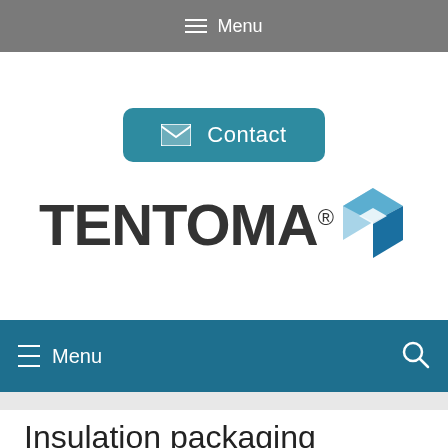≡ Menu
[Figure (screenshot): Contact button with envelope icon on teal rounded rectangle background]
[Figure (logo): TENTOMA® logo with blue 3D cube icon]
≡ Menu
Insulation packaging